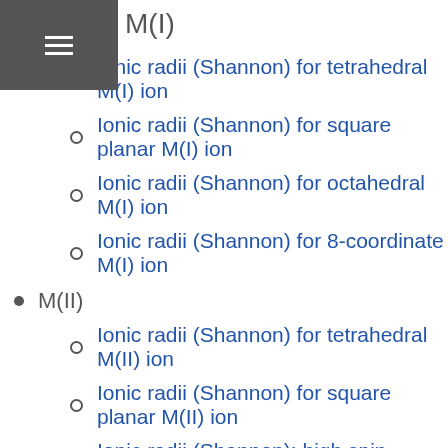☰ M(I)
M(I)
Ionic radii (Shannon) for tetrahedral M(I) ion
Ionic radii (Shannon) for square planar M(I) ion
Ionic radii (Shannon) for octahedral M(I) ion
Ionic radii (Shannon) for 8-coordinate M(I) ion
M(II)
Ionic radii (Shannon) for tetrahedral M(II) ion
Ionic radii (Shannon) for square planar M(II) ion
Ionic radii (Shannon): high spin octahedral M(II) ion
Ionic radii (Shannon): low spin octahedral M(II) ion
Ionic radii (Shannon) for 8-coordinate M(II) ion
M(II)
Ionic radii (Shannon) for tetrahedral M(III) ion
Ionic radii (Shannon) for square planar M(III) ion
Ionic radii (Shannon): high spin octahedral M(III) ion